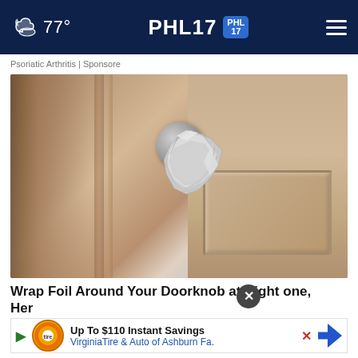77°  PHL17
Psoriatic Arthritis | Sponsore
[Figure (photo): A door knob wrapped in aluminum foil on a wooden door]
Wrap Foil Around Your Doorknob at Night ✕ one, Her
Up To $110 Instant Savings
VirginiaTire & Auto of Ashburn Fa.
Sogoo